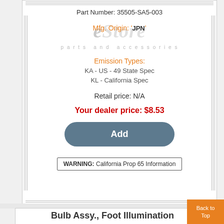Part Number: 35505-SA5-003
[Figure (logo): eStore parts and accessories watermark logo with Mfg. Origin: JPN overlay]
Emission Types:
KA - US - 49 State Spec
KL - California Spec
Retail price: N/A
Your dealer price: $8.53
Add
WARNING: California Prop 65 Information
Bulb Assy., Foot Illumination
Part Number: 34504-SD4-003